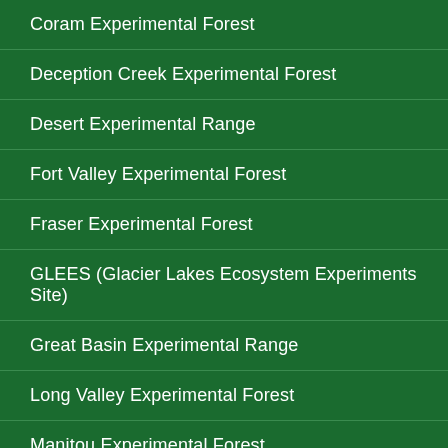Coram Experimental Forest
Deception Creek Experimental Forest
Desert Experimental Range
Fort Valley Experimental Forest
Fraser Experimental Forest
GLEES (Glacier Lakes Ecosystem Experiments Site)
Great Basin Experimental Range
Long Valley Experimental Forest
Manitou Experimental Forest